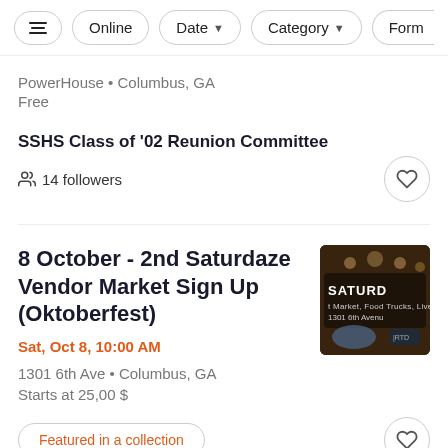Online | Date | Category | Form
PowerHouse • Columbus, GA
Free
SSHS Class of '02 Reunion Committee
14 followers
8 October - 2nd Saturdaze Vendor Market Sign Up (Oktoberfest)
Sat, Oct 8, 10:00 AM
1301 6th Ave • Columbus, GA
Starts at 25,00 $
[Figure (photo): Event promotional image showing 'SATURDAZE' text with venue details at 1301 6th Avenue]
Featured in a collection